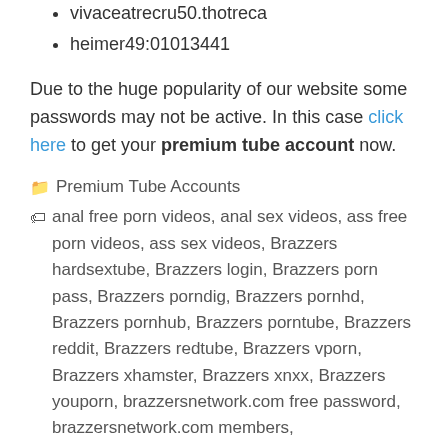vivaceatrecru50.thotreca
heimer49:01013441
Due to the huge popularity of our website some passwords may not be active. In this case click here to get your premium tube account now.
📁 Premium Tube Accounts
🏷 anal free porn videos, anal sex videos, ass free porn videos, ass sex videos, Brazzers hardsextube, Brazzers login, Brazzers porn pass, Brazzers porndig, Brazzers pornhd, Brazzers pornhub, Brazzers porntube, Brazzers reddit, Brazzers redtube, Brazzers vporn, Brazzers xhamster, Brazzers xnxx, Brazzers youporn, brazzersnetwork.com free password, brazzersnetwork.com members, brazzersnetwork.com password,